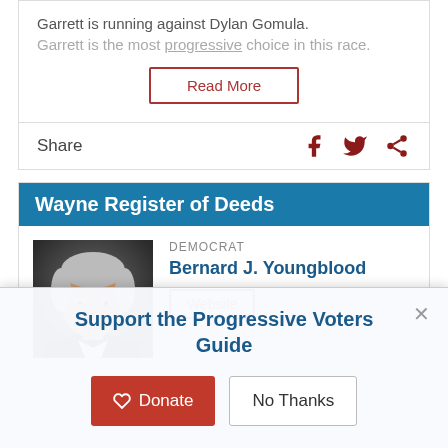Garrett is running against Dylan Gomula.
Garrett is the most progressive choice in this race.
Read More
Share
Wayne Register of Deeds
DEMOCRAT
Bernard J. Youngblood
Website
Support the Progressive Voters Guide
Donate
No Thanks